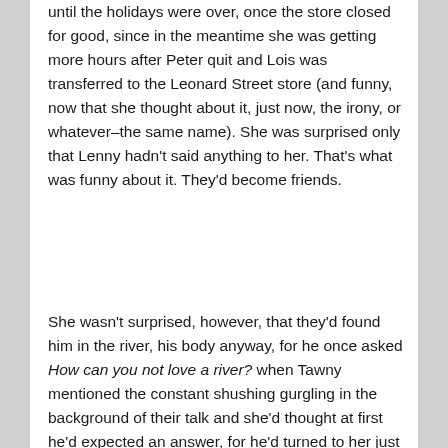until the holidays were over, once the store closed for good, since in the meantime she was getting more hours after Peter quit and Lois was transferred to the Leonard Street store (and funny, now that she thought about it, just now, the irony, or whatever–the same name). She was surprised only that Lenny hadn't said anything to her. That's what was funny about it. They'd become friends.
She wasn't surprised, however, that they'd found him in the river, his body anyway, for he once asked How can you not love a river? when Tawny mentioned the constant shushing gurgling in the background of their talk and she'd thought at first he'd expected an answer, for he'd turned to her just then and looked at her in a way that expected an